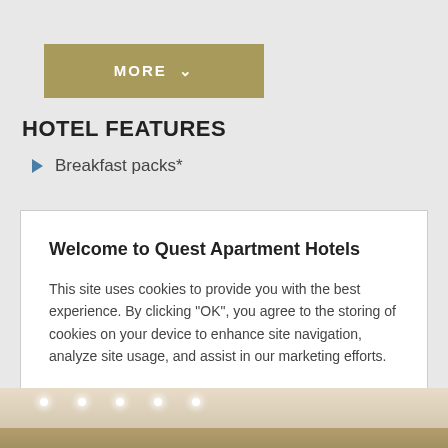[Figure (screenshot): Gold/olive colored button with text 'MORE' and a downward chevron arrow]
HOTEL FEATURES
Breakfast packs*
Welcome to Quest Apartment Hotels
This site uses cookies to provide you with the best experience. By clicking "OK", you agree to the storing of cookies on your device to enhance site navigation, analyze site usage, and assist in our marketing efforts.
Cookies Settings
OK
[Figure (photo): Interior hotel room/lobby photo showing ceiling with recessed lighting]